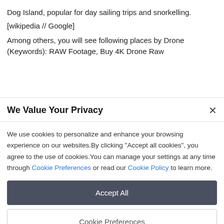Dog Island, popular for day sailing trips and snorkelling.
[wikipedia // Google]
Among others, you will see following places by Drone (Keywords): RAW Footage, Buy 4K Drone Raw
We Value Your Privacy
We use cookies to personalize and enhance your browsing experience on our websites.By clicking "Accept all cookies", you agree to the use of cookies.You can manage your settings at any time through Cookie Preferences or read our Cookie Policy to learn more.
Accept All
Cookie Preferences